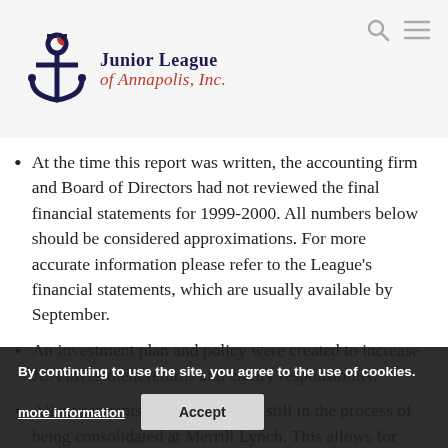Junior League of Annapolis, Inc.
At the time this report was written, the accounting firm and Board of Directors had not reviewed the final financial statements for 1999-2000. All numbers below should be considered approximations. For more accurate information please refer to the League's financial statements, which are usually available by September.
An investment plan and policy were created to increase JLA investment returns and clarify responsibility.
All investments have been or are still in the process of being consolidated at Merrill Lynch. This allows for diversification and greater earnings potential.
By continuing to use the site, you agree to the use of cookies. more information  Accept